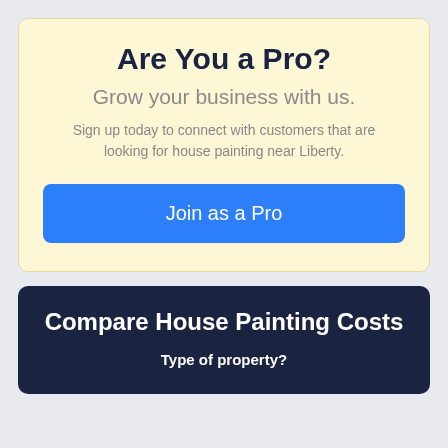Are You a Pro?
Grow your business with us.
Sign up today to connect with customers that are looking for house painting near Liberty.
Join as a Pro
Compare House Painting Costs
Type of property?